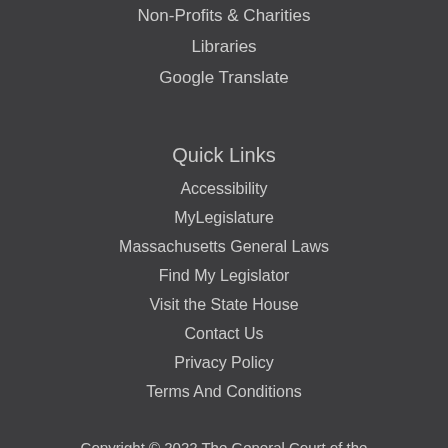Non-Profits & Charities
Libraries
Google Translate
Quick Links
Accessibility
MyLegislature
Massachusetts General Laws
Find My Legislator
Visit the State House
Contact Us
Privacy Policy
Terms And Conditions
Copyright © 2022 The General Court of the Commonwealth of Massachusetts